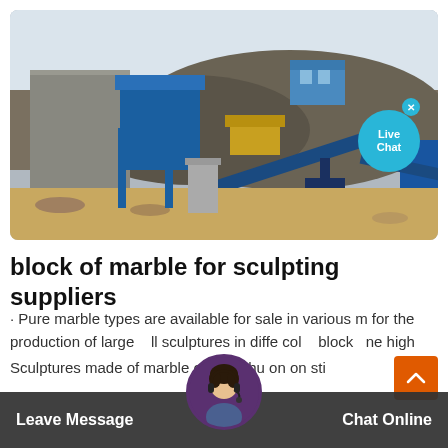[Figure (photo): Industrial marble quarry or stone crushing facility with blue conveyor belts, machinery, large piles of crushed stone/gravel, concrete walls, a small building/control room, and sandy ground. Overcast sky in background.]
block of marble for sculpting suppliers
· Pure marble types are available for sale in various m... for the production of large ... all sculptures in diffe... col... block ... ne high...
Sculptures made of marble on offer hu on on sti...
Leave Message   Chat Online